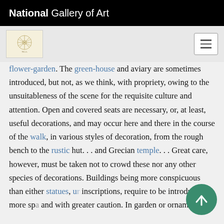National Gallery of Art
[Figure (logo): National Gallery of Art decorative logo/seal on light yellow background]
flower-garden. The green-house and aviary are sometimes introduced, but not, as we think, with propriety, owing to the unsuitableness of the scene for the requisite culture and attention. Open and covered seats are necessary, or, at least, useful decorations, and may occur here and there in the course of the walk, in various styles of decoration, from the rough bench to the rustic hut. . . and Grecian temple. . . Great care, however, must be taken not to crowd these nor any other species of decorations. Buildings being more conspicuous than either statues, ur... inscriptions, require to be introduced more spa... and with greater caution. In garden or ornamented